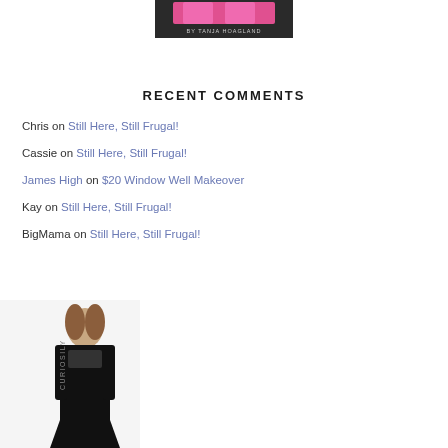[Figure (photo): Top banner image with pink items and text 'BY TANJA HOAGLAND' on dark background]
RECENT COMMENTS
Chris on Still Here, Still Frugal!
Cassie on Still Here, Still Frugal!
James High on $20 Window Well Makeover
Kay on Still Here, Still Frugal!
BigMama on Still Here, Still Frugal!
[Figure (photo): Bottom-left image of a woman in a black lace dress with 'CURIOSILY' text on the side]